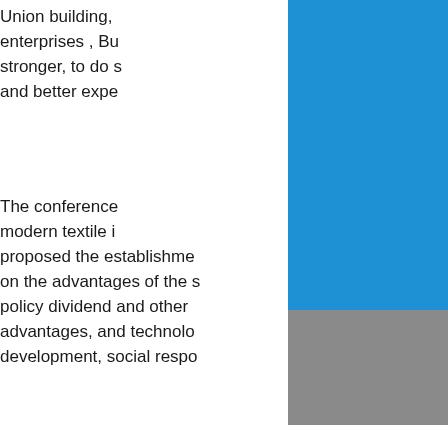Union building, enterprises , Bu stronger, to do s and better expe
The conference modern textile i proposed the establishment on the advantages of the s policy dividend and other advantages, and technolo development, social respo
In the theme of the forum North Na, China Chemica Li Lingshen, China Garme innovation", "a few though industry status and thinkin
[Figure (other): Blue rectangle block in upper right corner]
[Figure (other): Gray rectangle block in lower right corner]